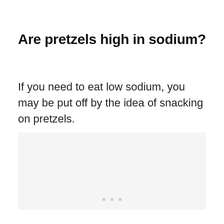Are pretzels high in sodium?
If you need to eat low sodium, you may be put off by the idea of snacking on pretzels.
[Figure (other): Light grey placeholder image box with three dots at the bottom indicating loading or ad content]